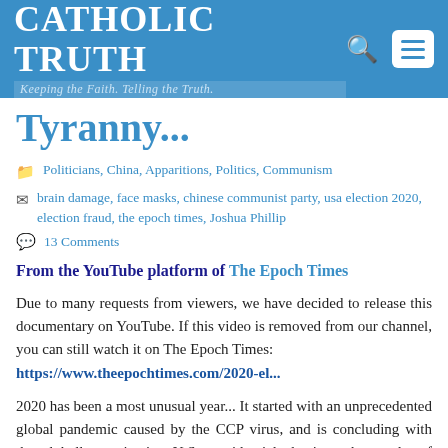Catholic Truth — Keeping the Faith. Telling the Truth.
Tyranny...
Politicians, China, Apparitions, Politics, Communism
brain damage, face masks, chinese communist party, usa election 2020, election fraud, the epoch times, Joshua Phillip
13 Comments
From the YouTube platform of The Epoch Times
Due to many requests from viewers, we have decided to release this documentary on YouTube. If this video is removed from our channel, you can still watch it on The Epoch Times: https://www.theepochtimes.com/2020-el...
2020 has been a most unusual year... It started with an unprecedented global pandemic caused by the CCP virus, and is concluding with the globally captivating U.S. presidential election—the results of which will not only decide the future of the United States, but also determine the future of the world.